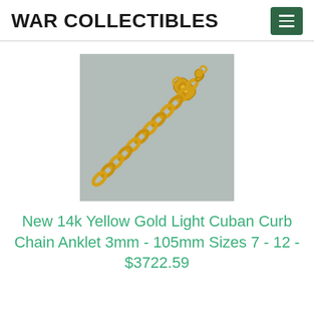WAR COLLECTIBLES
[Figure (photo): Photo of a 14k yellow gold light Cuban curb chain anklet on a gray background, showing gold chain links and lobster clasp]
New 14k Yellow Gold Light Cuban Curb Chain Anklet 3mm - 105mm Sizes 7 - 12 - $3722.59